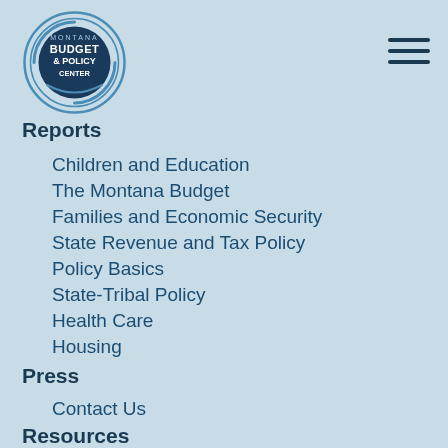[Figure (logo): Montana Budget & Policy Center circular logo with concentric rings, dark navy background with white text]
Reports
Children and Education
The Montana Budget
Families and Economic Security
State Revenue and Tax Policy
Policy Basics
State-Tribal Policy
Health Care
Housing
Press
Contact Us
Resources
Reports